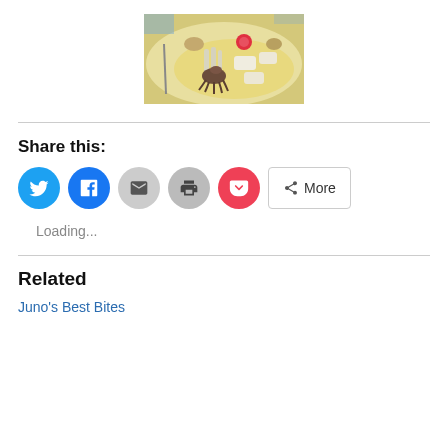[Figure (photo): A white plate with seafood dish including small octopus/squid, white fish pieces, radish, and cream sauce]
Share this:
[Figure (infographic): Social share buttons: Twitter (blue circle), Facebook (blue circle), Email (gray circle), Print (gray circle), Pocket (red circle), More (outlined button with share icon)]
Loading...
Related
Juno's Best Bites